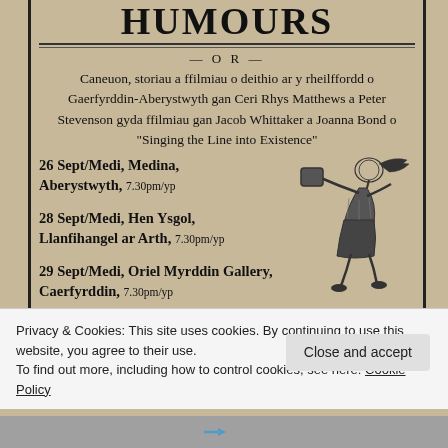HUMOURS
— O R —
Caneuon, storiau a ffilmiau o deithio ar y rheilffordd o Gaerfyrddin-Aberystwyth gan Ceri Rhys Matthews a Peter Stevenson gyda ffilmiau gan Jacob Whittaker a Joanna Bond o "Singing the Line into Existence"
26 Sept/Medi, Medina, Aberystwyth, 7.30pm/yp
28 Sept/Medi, Hen Ysgol, Llanfihangel ar Arth, 7.30pm/yp
29 Sept/Medi, Oriel Myrddin Gallery, Caerfyrddin, 7.30pm/yp
[Figure (illustration): Vintage illustration of a woman in old-fashioned dress running and swinging a bag or mallet]
Privacy & Cookies: This site uses cookies. By continuing to use this website, you agree to their use.
To find out more, including how to control cookies, see here: Cookie Policy
Close and accept